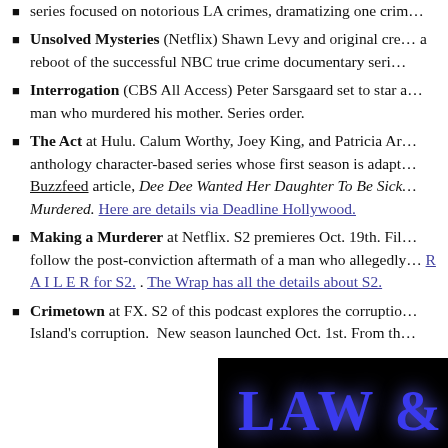series focused on notorious LA crimes, dramatizing one cri…
Unsolved Mysteries (Netflix) Shawn Levy and original cre… a reboot of the successful NBC true crime documentary seri…
Interrogation (CBS All Access) Peter Sarsgaard set to star… man who murdered his mother. Series order.
The Act at Hulu. Calum Worthy, Joey King, and Patricia Ar… anthology character-based series whose first season is adapt… Buzzfeed article, Dee Dee Wanted Her Daughter To Be Sick… Murdered. Here are details via Deadline Hollywood.
Making a Murderer at Netflix. S2 premieres Oct. 19th. Fil… follow the post-conviction aftermath of a man who allegedly… R A I L E R for S2. . The Wrap has all the details about S2.
Crimetown at FX. S2 of this podcast explores the corruptio… Island's corruption. New season launched Oct. 1st. From th…
[Figure (photo): Dark background image with 'LAW &' text visible in blue/purple illuminated letters, resembling a TV show title card for Law & Order]